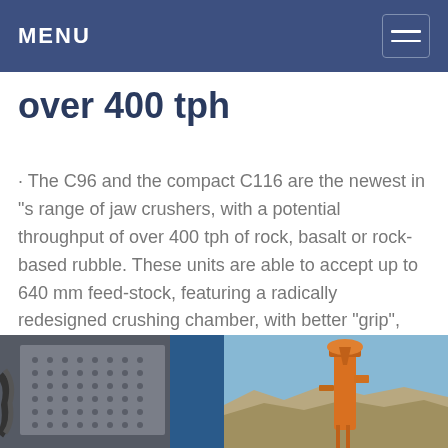MENU
over 400 tph
· The C96 and the compact C116 are the newest in "s range of jaw crushers, with a potential throughput of over 400 tph of rock, basalt or rock-based rubble. These units are able to accept up to 640 mm feed-stock, featuring a radically redesigned crushing chamber, with better "grip", and a 10 percent efficiency gain.
[Figure (photo): Two photos side by side: left shows a large industrial jaw crusher with perforated plate surfaces and blue metal structure; right shows an orange industrial machine against a rocky quarry background with blue sky.]